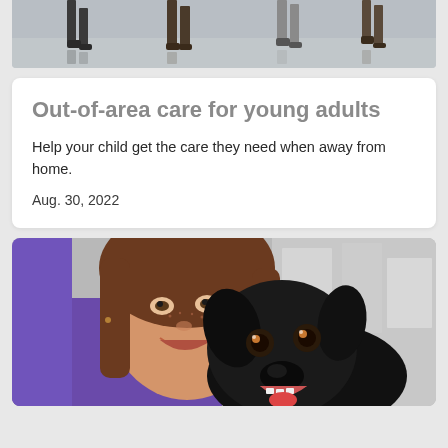[Figure (photo): Top banner photo showing people walking, only legs and feet visible on a reflective floor.]
Out-of-area care for young adults
Help your child get the care they need when away from home.
Aug. 30, 2022
[Figure (photo): A smiling woman with brown hair wearing a purple shirt, cheek-to-cheek with a black dog that is also smiling, photographed outdoors.]